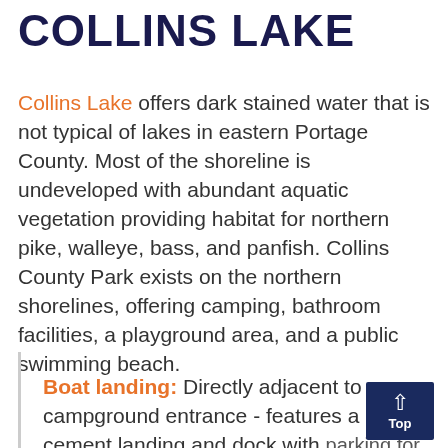COLLINS LAKE
Collins Lake offers dark stained water that is not typical of lakes in eastern Portage County. Most of the shoreline is undeveloped with abundant aquatic vegetation providing habitat for northern pike, walleye, bass, and panfish. Collins County Park exists on the northern shorelines, offering camping, bathroom facilities, a playground area, and a public swimming beach.
Boat landing: Directly adjacent to campground entrance - features a cement landing and dock with parking for 6-5 trucks with trailers